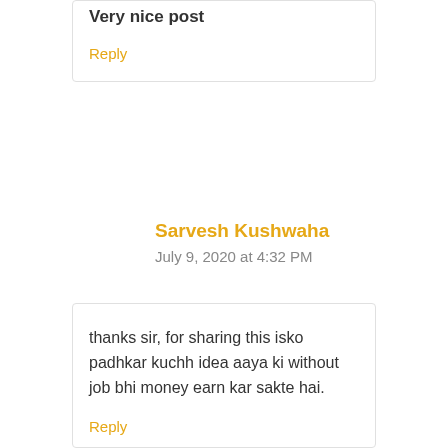Very nice post
Reply
Sarvesh Kushwaha
July 9, 2020 at 4:32 PM
thanks sir, for sharing this isko padhkar kuchh idea aaya ki without job bhi money earn kar sakte hai.
Reply